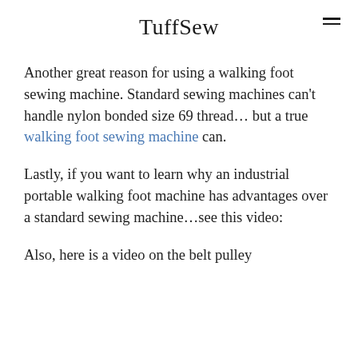TuffSew
Another great reason for using a walking foot sewing machine. Standard sewing machines can't handle nylon bonded size 69 thread… but a true walking foot sewing machine can.
Lastly, if you want to learn why an industrial portable walking foot machine has advantages over a standard sewing machine…see this video:
Also, here is a video on the belt pulley